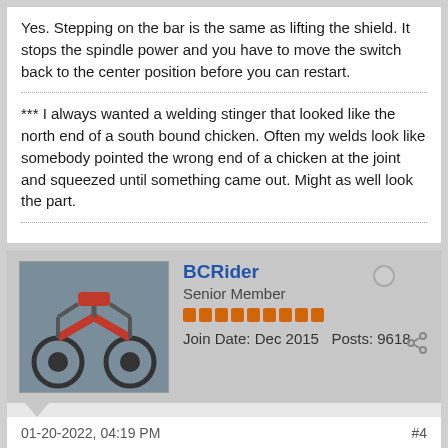Yes. Stepping on the bar is the same as lifting the shield. It stops the spindle power and you have to move the switch back to the center position before you can restart.
*** I always wanted a welding stinger that looked like the north end of a south bound chicken. Often my welds look like somebody pointed the wrong end of a chicken at the joint and squeezed until something came out. Might as well look the part.
BCRider | Senior Member | Join Date: Dec 2015 | Posts: 9618
01-20-2022, 04:19 PM  #4
I envy you guys with the machines that can just disengage a clutch and brake the spindle for doing work that requires frequent stops.
Bob, I assume that the brake has the ability to feather out the stop so it's not a sudden slam? If so and you temper it so it slows over something like even a half second I can't see that being at all harsh on the machine parts. You just want to avoid a sudden SLAM! that makes the swarf jump up in the chip tray.